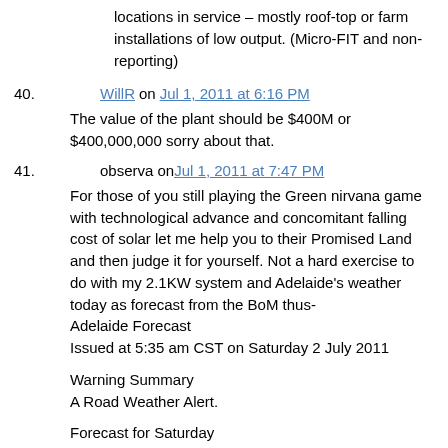locations in service – mostly roof-top or farm installations of low output. (Micro-FIT and non-reporting)
40. WillR on Jul 1, 2011 at 6:16 PM
The value of the plant should be $400M or $400,000,000 sorry about that.
41. observa on Jul 1, 2011 at 7:47 PM
For those of you still playing the Green nirvana game with technological advance and concomitant falling cost of solar let me help you to their Promised Land and then judge it for yourself. Not a hard exercise to do with my 2.1KW system and Adelaide's weather today as forecast from the BoM thus-
Adelaide Forecast
Issued at 5:35 am CST on Saturday 2 July 2011

Warning Summary
A Road Weather Alert.

Forecast for Saturday
A few showers, turning to rain during the morning. Cool to mild with moderate to
fresh northeast to northwesterly winds.

Precis Rain.
City: Max 16

Now what does actually translate to at my place with the